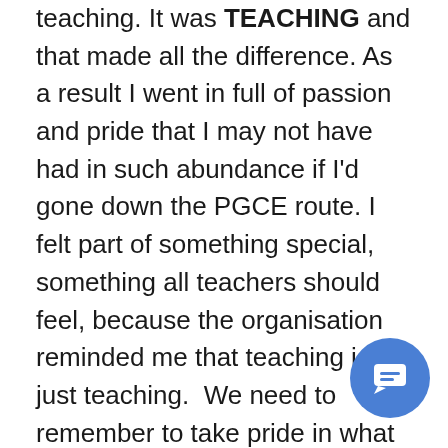teaching. It was TEACHING and that made all the difference. As a result I went in full of passion and pride that I may not have had in such abundance if I'd gone down the PGCE route. I felt part of something special, something all teachers should feel, because the organisation reminded me that teaching isn't just teaching.  We need to remember to take pride in what we do and accept that students will behave like animals sometimes. By displaying an enthusiastic mindset pupils will start to understand that teachers are not there because they couldn't make it in the real world but because we find them exciting and find the idea of helping them to discover and shape themselves both worthy and endlessly fascinating. Once they've accepted that then maybe they will start to engage and show
[Figure (other): Blue circular chat/messaging icon button in the bottom right corner of the page]